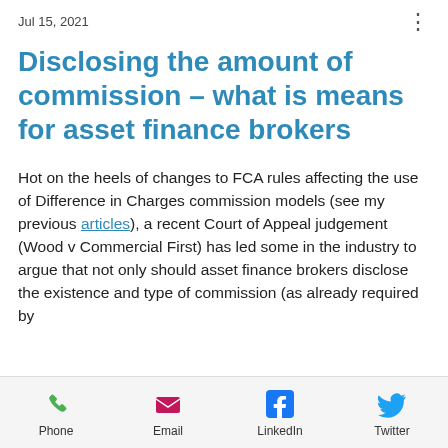Jul 15, 2021
Disclosing the amount of commission – what is means for asset finance brokers
Hot on the heels of changes to FCA rules affecting the use of Difference in Charges commission models (see my previous articles), a recent Court of Appeal judgement (Wood v Commercial First) has led some in the industry to argue that not only should asset finance brokers disclose the existence and type of commission (as already required by
Phone | Email | LinkedIn | Twitter